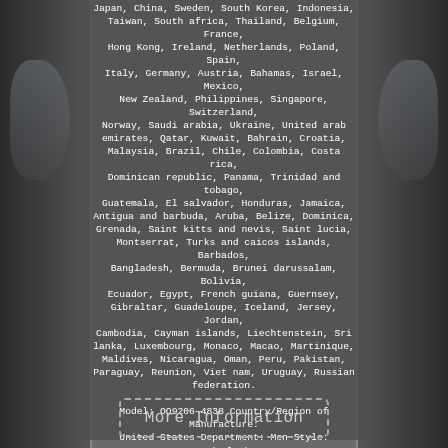[Figure (photo): Product photo of Oakley Radarlock Path sunglasses in Cool Grey, visible on left and right edges of the image]
Japan, China, Sweden, South Korea, Indonesia, Taiwan, South africa, Thailand, Belgium, France, Hong Kong, Ireland, Netherlands, Poland, Spain, Italy, Germany, Austria, Bahamas, Israel, Mexico, New Zealand, Philippines, Singapore, Switzerland, Norway, Saudi arabia, Ukraine, United arab emirates, Qatar, Kuwait, Bahrain, Croatia, Malaysia, Brazil, Chile, Colombia, Costa rica, Dominican republic, Panama, Trinidad and tobago, Guatemala, El salvador, Honduras, Jamaica, Antigua and barbuda, Aruba, Belize, Dominica, Grenada, Saint kitts and nevis, Saint lucia, Montserrat, Turks and caicos islands, Barbados, Bangladesh, Bermuda, Brunei darussalam, Bolivia, Ecuador, Egypt, French guiana, Guernsey, Gibraltar, Guadeloupe, Iceland, Jersey, Jordan, Cambodia, Cayman islands, Liechtenstein, Sri lanka, Luxembourg, Monaco, Macao, Martinique, Maldives, Nicaragua, Oman, Peru, Pakistan, Paraguay, Reunion, Viet nam, Uruguay, Russian federation.
Model: OO9206-4838 Country/Region of Manufacture: United States Department: Men Style: Radarlock Path - ASIA FIT Temple Length: 131 mm Lens Technology: PRIZM Type: Sunglasses Frame Material: Plastic UV Protection: 100% UVA & UVB Modified Item: No LOT #: 64.89 Lens Color: PRIZM DARK GOLF Brand: Oakley Frame Color: Cool Grey
More Information